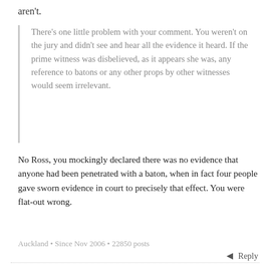aren't.
There's one little problem with your comment. You weren't on the jury and didn't see and hear all the evidence it heard. If the prime witness was disbelieved, as it appears she was, any reference to batons or any other props by other witnesses would seem irrelevant.
No Ross, you mockingly declared there was no evidence that anyone had been penetrated with a baton, when in fact four people gave sworn evidence in court to precisely that effect. You were flat-out wrong.
Auckland • Since Nov 2006 • 22850 posts
Reply
Deborah, 15 years ago ∞
Isn't it significant that Nicholas was judged by her peers who found her testimony/credibility to be wanting?